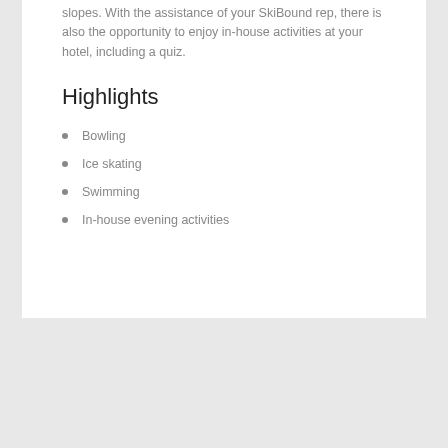slopes. With the assistance of your SkiBound rep, there is also the opportunity to enjoy in-house activities at your hotel, including a quiz.
Highlights
Bowling
Ice skating
Swimming
In-house evening activities